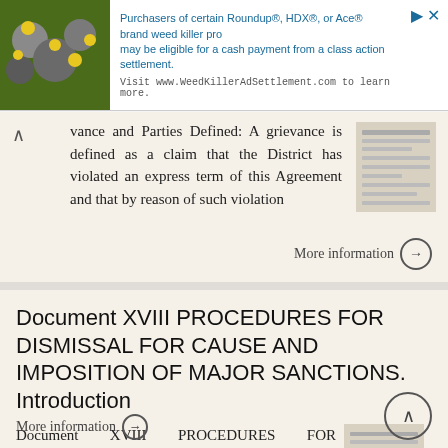[Figure (screenshot): Advertisement banner for WeedKillerAdSettlement.com with photo of yellow flowers and rocks]
vance and Parties Defined: A grievance is defined as a claim that the District has violated an express term of this Agreement and that by reason of such violation
More information →
Document XVIII PROCEDURES FOR DISMISSAL FOR CAUSE AND IMPOSITION OF MAJOR SANCTIONS. Introduction
Document XVIII PROCEDURES FOR DISMISSAL FOR CAUSE AND IMPOSITION OF MAJOR SANCTIONS Introduction The University is a community of scholars dedicated to the advancement of knowledge. Among the functions
More information →